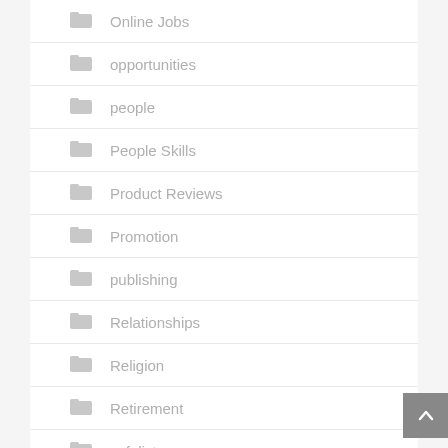Online Jobs
opportunities
people
People Skills
Product Reviews
Promotion
publishing
Relationships
Religion
Retirement
safelists
Sales